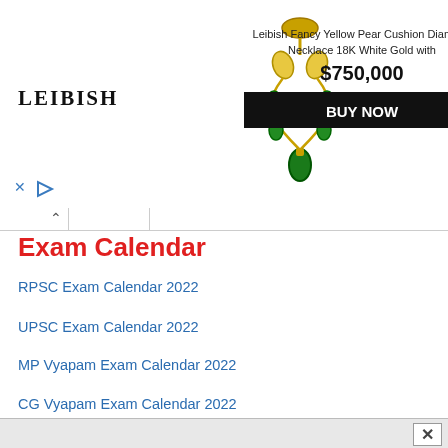[Figure (illustration): Leibish jewelry advertisement banner showing a yellow pear cushion diamond necklace with gold and emeralds. Includes LEIBISH logo, product title, price $750,000 and a BUY NOW button.]
Exam Calendar
RPSC Exam Calendar 2022
UPSC Exam Calendar 2022
MP Vyapam Exam Calendar 2022
CG Vyapam Exam Calendar 2022
MDSU Academic Calendar 2022